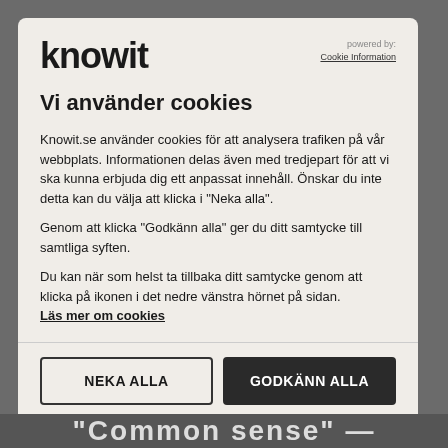knowit
powered by: Cookie Information
Vi använder cookies
Knowit.se använder cookies för att analysera trafiken på vår webbplats. Informationen delas även med tredjepart för att vi ska kunna erbjuda dig ett anpassat innehåll. Önskar du inte detta kan du välja att klicka i "Neka alla".
Genom att klicka "Godkänn alla" ger du ditt samtycke till samtliga syften.
Du kan när som helst ta tillbaka ditt samtycke genom att klicka på ikonen i det nedre vänstra hörnet på sidan. Läs mer om cookies
NEKA ALLA
GODKÄNN ALLA
Visa detaljer
"Common sense" —